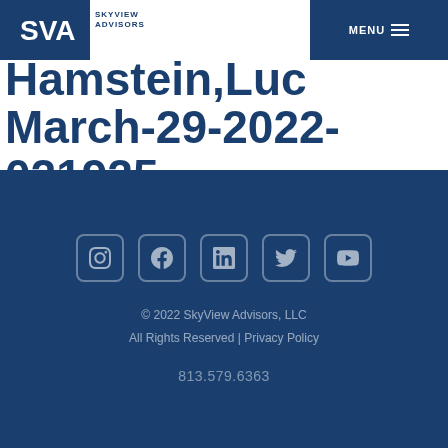SkyView Advisors
Hamstein, Luc March-29-2022-021925
© 2022 SkyView Advisors, LLC All Rights Reserved | Privacy Policy 813.579.6363